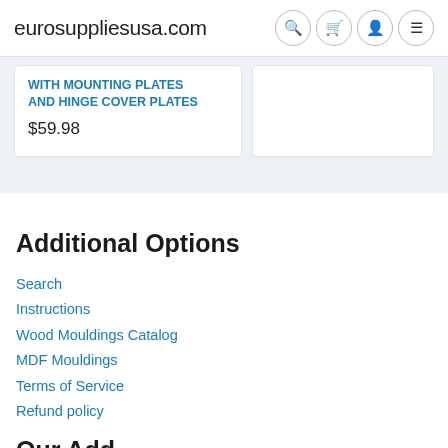eurosuppliesusa.com
WITH MOUNTING PLATES AND HINGE COVER PLATES $59.98
Additional Options
Search
Instructions
Wood Mouldings Catalog
MDF Mouldings
Terms of Service
Refund policy
Our Address